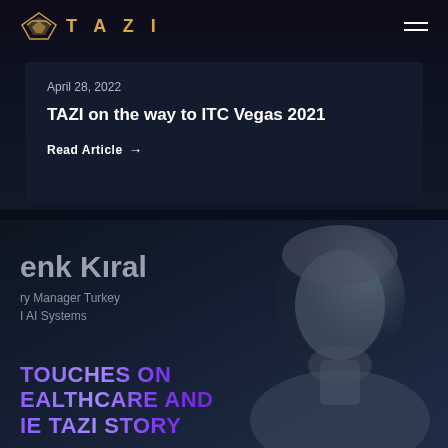TAZI
April 28, 2022
TAZI on the way to ITC Vegas 2021
Read Article →
enk Kıral
ry Manager Turkey
I AI Systems
TOUCHES ON EALTHCARE AND IE TAZI STORY